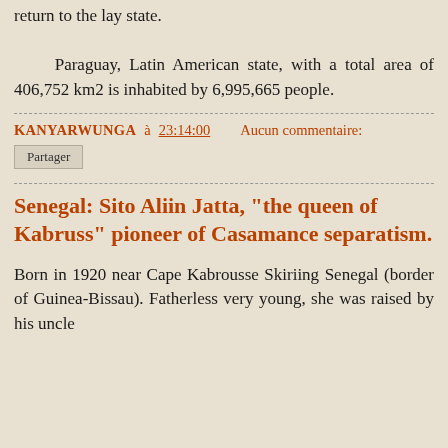return to the lay state.

Paraguay, Latin American state, with a total area of 406,752 km2 is inhabited by 6,995,665 people.
KANYARWUNGA à 23:14:00   Aucun commentaire:
Partager
Senegal: Sito Aliin Jatta, "the queen of Kabruss" pioneer of Casamance separatism.
Born in 1920 near Cape Kabrousse Skiriing Senegal (border of Guinea-Bissau). Fatherless very young, she was raised by his uncle